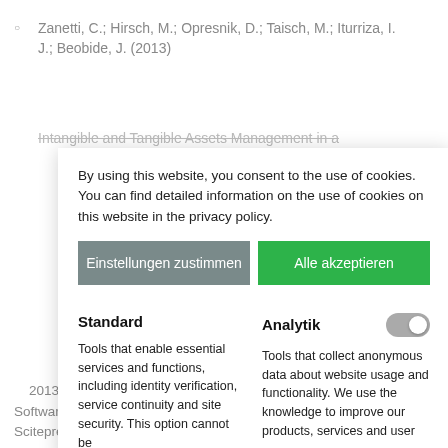Zanetti, C.; Hirsch, M.; Opresnik, D.; Taisch, M.; Iturriza, I. J.; Beobide, J. (2013)
Intangible and Tangible Assets Management in a
By using this website, you consent to the use of cookies. You can find detailed information on the use of cookies on this website in the privacy policy.
Einstellungen zustimmen
Alle akzeptieren
Standard
Analytik
Tools that enable essential services and functions, including identity verification, service continuity and site security. This option cannot be
Tools that collect anonymous data about website usage and functionality. We use the knowledge to improve our products, services and user
2013 – Third International Symposium on Business Modeling and Software Design, Noordwijkerhout, The Netherlands, 8-10 July 2013. Scitepress, S. 151-156. ISBN: 978-989-8565-56-3